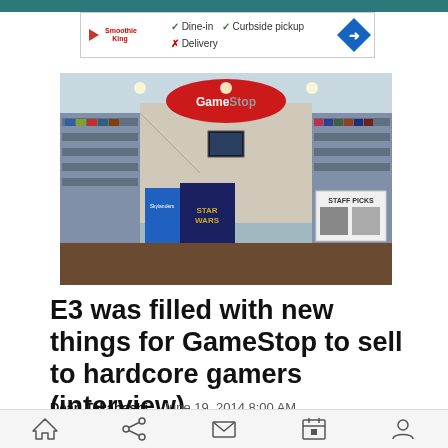[Figure (screenshot): Advertisement banner for Smoothie King restaurant showing dine-in and curbside pickup available, delivery not available, with navigation arrow icon]
[Figure (photo): Interior of a GameStop store showing shelves of video games, Star Wars display, Staff Picks section, and the red GameStop logo sign hanging from the ceiling]
E3 was filled with new things for GameStop to sell to hardcore gamers (interview)
Dean Takahashi    June 19, 2014 8:00 AM
Home Share Mail Calendar Profile